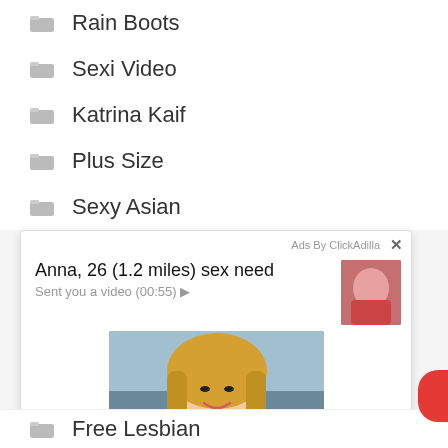Rain Boots
Sexi Video
Katrina Kaif
Plus Size
Sexy Asian
[Figure (screenshot): Ad popup by ClickAdilla: 'Anna, 26 (1.2 miles) sex need' with thumbnail and main photo of blonde woman, 'Sent you a video (00:55)' subtitle, 2md timestamp]
Free Lesbian